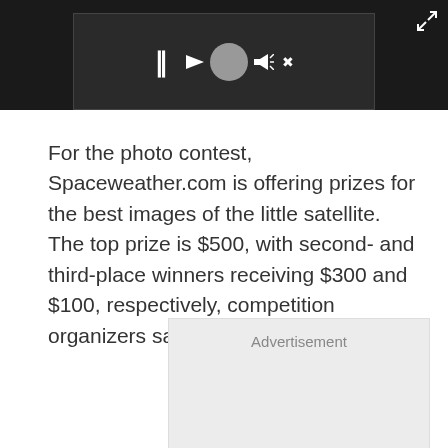[Figure (screenshot): Video player bar at top with dark background, showing pause button, avatar/profile circle, speaker icon, and fullscreen expand button in white on dark background]
For the photo contest, Spaceweather.com is offering prizes for the best images of the little satellite. The top prize is $500, with second- and third-place winners receiving $300 and $100, respectively, competition organizers said.
[Figure (other): Advertisement placeholder box with light gray background and 'Advertisement' label]